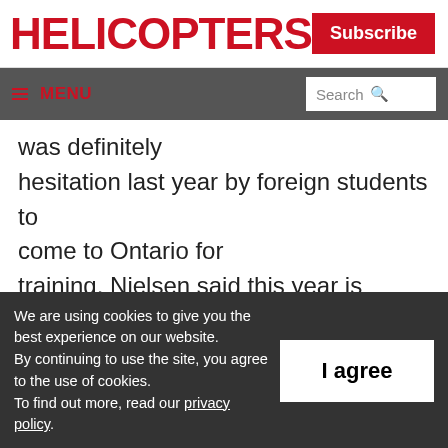HELICOPTERS
Subscribe
≡ MENU  Search
was definitely hesitation last year by foreign students to come to Ontario for training. Nielsen said this year is looking much better and he feels that this spring should see a rise in the
We are using cookies to give you the best experience on our website. By continuing to use the site, you agree to the use of cookies. To find out more, read our privacy policy.
I agree